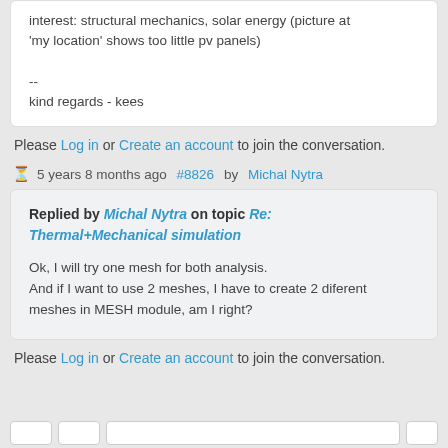interest: structural mechanics, solar energy (picture at 'my location' shows too little pv panels)

--
kind regards - kees
Please Log in or Create an account to join the conversation.
5 years 8 months ago #8826 by Michal Nytra
Replied by Michal Nytra on topic Re: Thermal+Mechanical simulation
Ok, I will try one mesh for both analysis.
And if I want to use 2 meshes, I have to create 2 diferent meshes in MESH module, am I right?
Please Log in or Create an account to join the conversation.